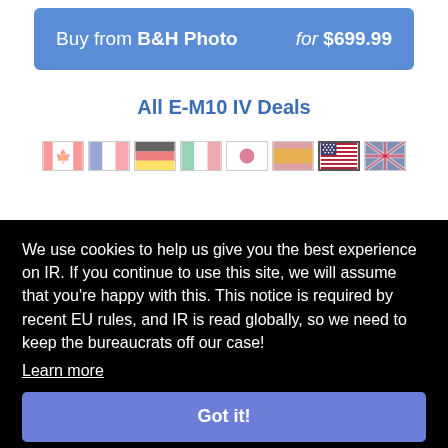Buy from B&H Photo for $699.99
All E-M10 IV Deals
[Figure (illustration): Row of country flags: Canada, France, Germany, Italy, Japan, Spain, United States (highlighted/selected), United Kingdom]
We use cookies to help us give you the best experience on IR. If you continue to use this site, we will assume that you're happy with this. This notice is required by recent EU rules, and IR is read globally, so we need to keep the bureaucrats off our case!
Learn more
Got it!